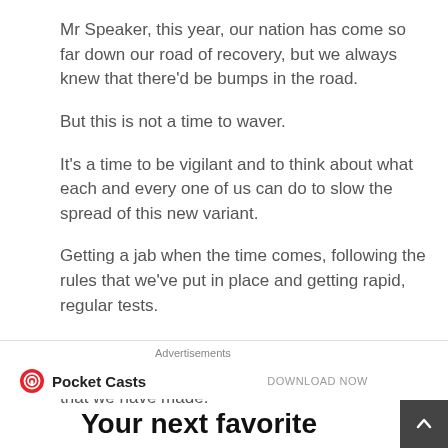Mr Speaker, this year, our nation has come so far down our road of recovery, but we always knew that there'd be bumps in the road.
But this is not a time to waver.
It's a time to be vigilant and to think about what each and every one of us can do to slow the spread of this new variant.
Getting a jab when the time comes, following the rules that we've put in place and getting rapid, regular tests.
If we all come together once again, then we can keep this virus at bay and protect the progress that we have made.
[Figure (logo): Pocket Casts logo with red circular icon and bold text 'Pocket Casts', with 'DOWNLOAD NOW' text on the right]
Your next favorite